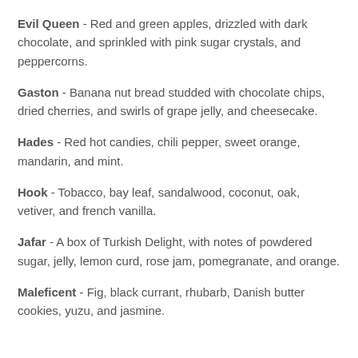Evil Queen - Red and green apples, drizzled with dark chocolate, and sprinkled with pink sugar crystals, and peppercorns.
Gaston - Banana nut bread studded with chocolate chips, dried cherries, and swirls of grape jelly, and cheesecake.
Hades - Red hot candies, chili pepper, sweet orange, mandarin, and mint.
Hook - Tobacco, bay leaf, sandalwood, coconut, oak, vetiver, and french vanilla.
Jafar - A box of Turkish Delight, with notes of powdered sugar, jelly, lemon curd, rose jam, pomegranate, and orange.
Maleficent - Fig, black currant, rhubarb, Danish butter cookies, yuzu, and jasmine.